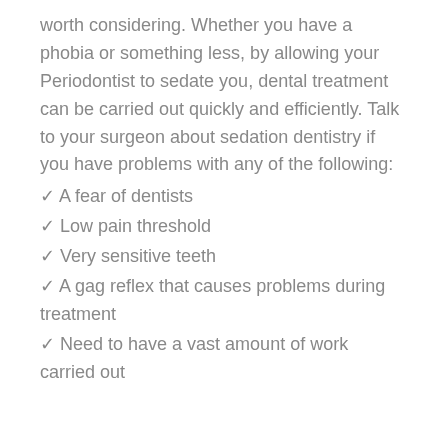worth considering. Whether you have a phobia or something less, by allowing your Periodontist to sedate you, dental treatment can be carried out quickly and efficiently. Talk to your surgeon about sedation dentistry if you have problems with any of the following:
✓ A fear of dentists
✓ Low pain threshold
✓ Very sensitive teeth
✓ A gag reflex that causes problems during treatment
✓ Need to have a vast amount of work carried out